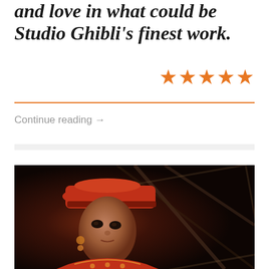and love in what could be Studio Ghibli's finest work.
[Figure (other): Five orange star rating icons]
Continue reading →
[Figure (photo): A young woman wearing a red traditional hat and ornate red embroidered costume, photographed in a dark dramatic setting with geometric wooden structures in the background]